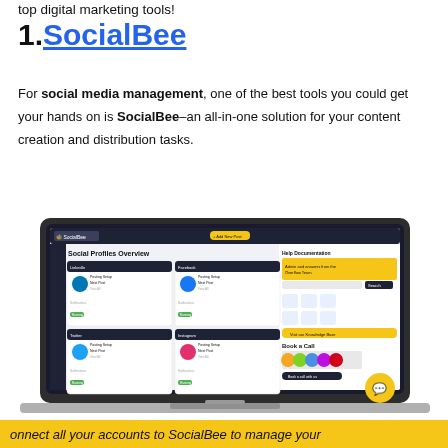top digital marketing tools!
1. SocialBee
For social media management, one of the best tools you could get your hands on is SocialBee—an all-in-one solution for your content creation and distribution tasks.
[Figure (screenshot): Screenshot of SocialBee dashboard showing Social Profiles Overview with multiple social media account panels and Help Documentation panel on the right, displayed on a laptop]
onnect all your accounts to SocialBee to manage your